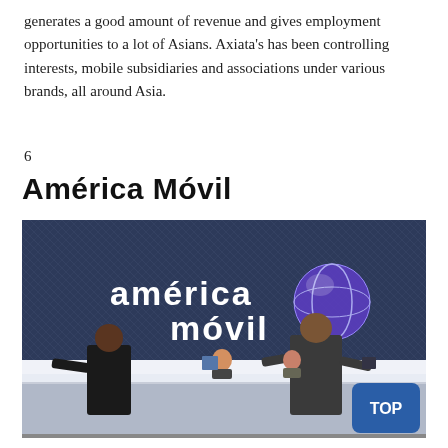generates a good amount of revenue and gives employment opportunities to a lot of Asians. Axiata's has been controlling interests, mobile subsidiaries and associations under various brands, all around Asia.
6
América Móvil
[Figure (photo): Photo of América Móvil reception lobby. Two men standing at a marble reception desk with female receptionists behind it. A large dark blue wall features the 'américa móvil' logo with a blue globe icon. A blue 'TOP' button appears in the bottom-right corner of the image.]